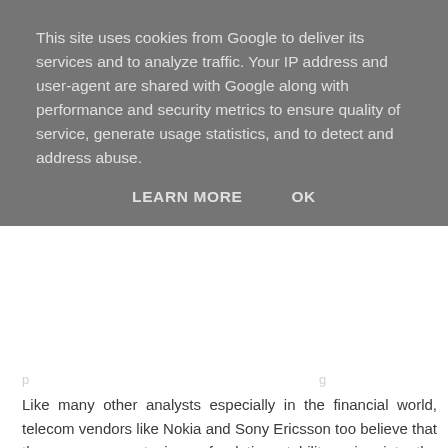This site uses cookies from Google to deliver its services and to analyze traffic. Your IP address and user-agent are shared with Google along with performance and security metrics to ensure quality of service, generate usage statistics, and to detect and address abuse.
LEARN MORE    OK
Like many other analysts especially in the financial world, telecom vendors like Nokia and Sony Ericsson too believe that there are nascent signs of relative stability going into the second quarter.
[Figure (other): Warning/error image placeholder with a grey triangle exclamation mark icon on white background]